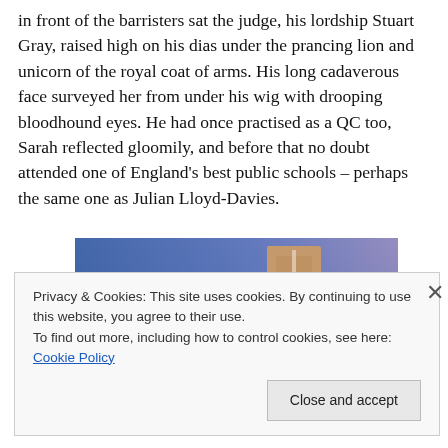in front of the barristers sat the judge, his lordship Stuart Gray, raised high on his dias under the prancing lion and unicorn of the royal coat of arms. His long cadaverous face surveyed her from under his wig with drooping bloodhound eyes. He had once practised as a QC too, Sarah reflected gloomily, and before that no doubt attended one of England's best public schools – perhaps the same one as Julian Lloyd-Davies.
[Figure (photo): Partial image showing a blended blue and purple gradient background with what appears to be a wooden door or panel element in the center-right area.]
Privacy & Cookies: This site uses cookies. By continuing to use this website, you agree to their use.
To find out more, including how to control cookies, see here: Cookie Policy
Close and accept